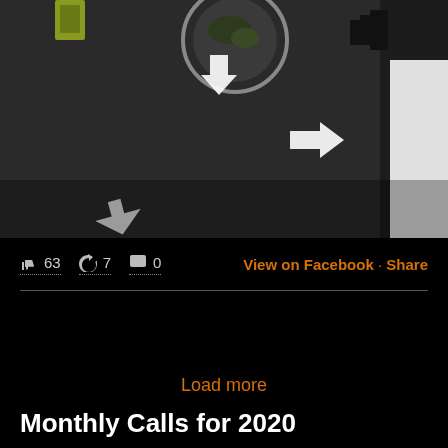[Figure (photo): Aerial/overhead view of a parking lot with white directional arrows painted on dark asphalt, a circular landscaped island, and what appears to be a vehicle or equipment in the upper left corner]
👍 63  ↪ 7  💬 0    View on Facebook · Share
Load more
Monthly Calls for 2020